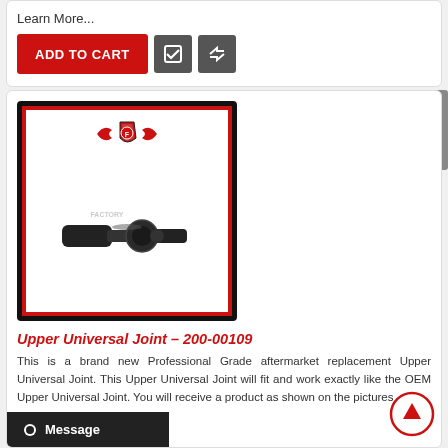Learn More...
ADD TO CART
[Figure (photo): Product image of Upper Universal Joint with brand logo and black mechanical part on white background with red and black border frame]
Upper Universal Joint – 200-00109
This is a brand new Professional Grade aftermarket replacement Upper Universal Joint. This Upper Universal Joint will fit and work exactly like the OEM Upper Universal Joint. You will receive a product as shown on the pictures
Learn More...
Message